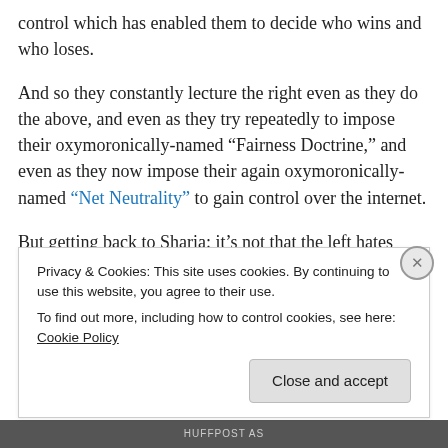control which has enabled them to decide who wins and who loses.
And so they constantly lecture the right even as they do the above, and even as they try repeatedly to impose their oxymoronically-named “Fairness Doctrine,” and even as they now impose their again oxymoronically-named “Net Neutrality” to gain control over the internet.
But getting back to Sharia: it’s not that the left hates religion (atheism itself is a religion, you know, and “state atheism” is the religion of communism); it’s that the left
Privacy & Cookies: This site uses cookies. By continuing to use this website, you agree to their use.
To find out more, including how to control cookies, see here: Cookie Policy
Close and accept
HUFFPOST AS